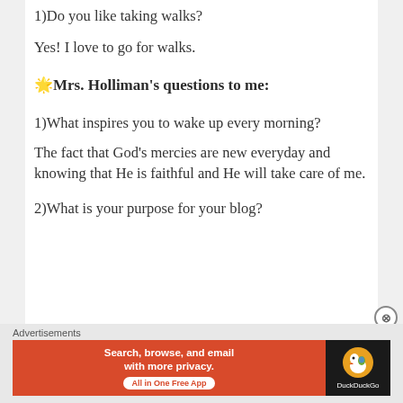1)Do you like taking walks?
Yes! I love to go for walks.
🌟Mrs. Holliman's questions to me:
1)What inspires you to wake up every morning?
The fact that God's mercies are new everyday and knowing that He is faithful and He will take care of me.
2)What is your purpose for your blog?
Advertisements Search, browse, and email with more privacy. All in One Free App  DuckDuckGo